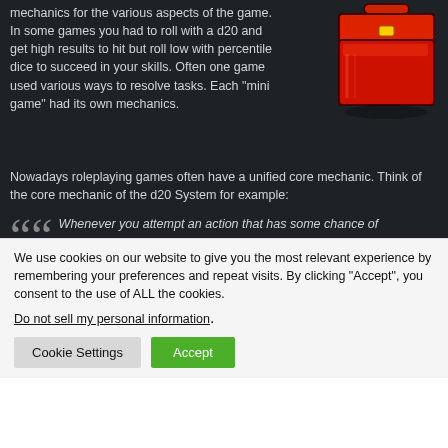mechanics for the various aspects of the game. In some games you had to roll with a d20 and get high results to hit but roll low with percentile dice to succeed in your skills. Often one game used various ways to resolve tasks. Each "mini game" had its own mechanics.
[Figure (illustration): Red toolbox illustration]
Nowadays roleplaying games often have a unified core mechanic. Think of the core mechanic of the d20 System for example:
Whenever you attempt an action that has some chance of
We use cookies on our website to give you the most relevant experience by remembering your preferences and repeat visits. By clicking "Accept", you consent to the use of ALL the cookies.
Do not sell my personal information.